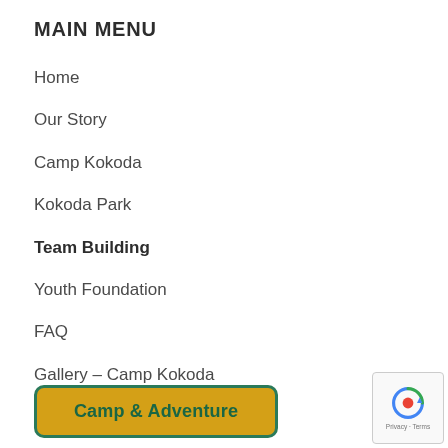MAIN MENU
Home
Our Story
Camp Kokoda
Kokoda Park
Team Building
Youth Foundation
FAQ
Gallery – Camp Kokoda
Contact Us
Camp & Adventure
[Figure (other): reCAPTCHA badge with Privacy and Terms text]